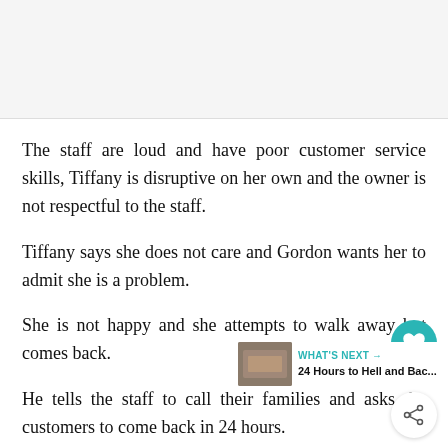[Figure (photo): Placeholder image area at top of page, light gray background]
The staff are loud and have poor customer service skills, Tiffany is disruptive on her own and the owner is not respectful to the staff.
Tiffany says she does not care and Gordon wants her to admit she is a problem.
She is not happy and she attempts to walk away but comes back.
He tells the staff to call their families and asks the customers to come back in 24 hours.